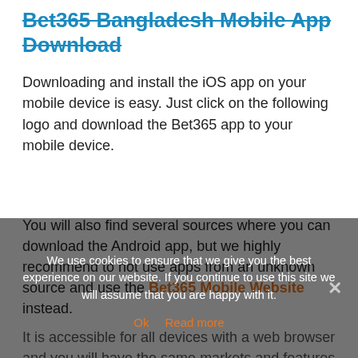Bet365 Bangladesh Mobile App Download
Downloading and install the iOS app on your mobile device is easy. Just click on the following logo and download the Bet365 app to your mobile device.
You will also find several sources where you can download the Android app, but we highly recommend to not use apps from an unknown source and use the Bet365 Mobile Website instead.
It is accessible for all devices with a web browser and you will have the same markets and features as the mobile app.
We use cookies to ensure that we give you the best experience on our website. If you continue to use this site we will assume that you are happy with it.